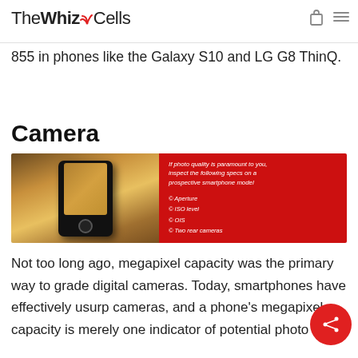The WhizCells
855 in phones like the Galaxy S10 and LG G8 ThinQ.
Camera
[Figure (photo): A hand holding a smartphone taking a photo, with a red panel on the right listing camera specs: Aperture, ISO level, OIS, Two rear cameras]
Not too long ago, megapixel capacity was the primary way to grade digital cameras. Today, smartphones have effectively usurp cameras, and a phone's megapixel capacity is merely one indicator of potential photo